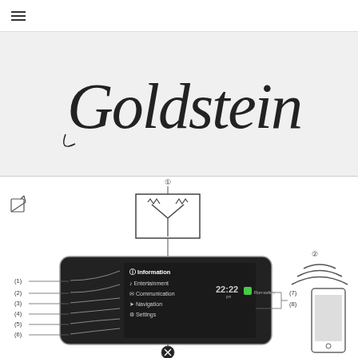☰
[Figure (logo): Goldstein logo in cursive/italic script font]
[Figure (schematic): Car infotainment system diagram showing: (1) antenna/transmitter box at top connected to car head unit display showing menu items (1) Information, (2) Entertainment, (3) Communication, (4) Navigation, (5) Settings, (6) unlabeled, with time 22:22 and green status indicator, labels (7) and (8) on right side, and (2) smartphone with wireless signal waves at bottom right, plus edit/pen icon, and an X/close button at the bottom center.]